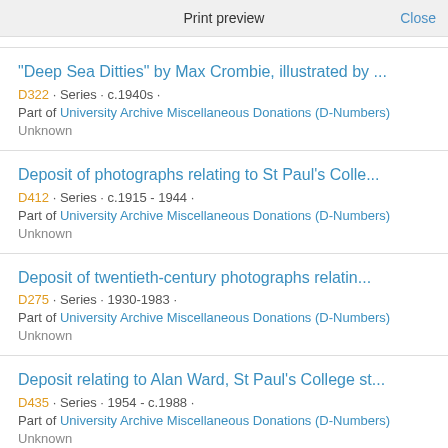Print preview   Close
"Deep Sea Ditties" by Max Crombie, illustrated by ...
D322 · Series · c.1940s ·
Part of University Archive Miscellaneous Donations (D-Numbers)
Unknown
Deposit of photographs relating to St Paul's Colle...
D412 · Series · c.1915 - 1944 ·
Part of University Archive Miscellaneous Donations (D-Numbers)
Unknown
Deposit of twentieth-century photographs relatin...
D275 · Series · 1930-1983 ·
Part of University Archive Miscellaneous Donations (D-Numbers)
Unknown
Deposit relating to Alan Ward, St Paul's College st...
D435 · Series · 1954 - c.1988 ·
Part of University Archive Miscellaneous Donations (D-Numbers)
Unknown